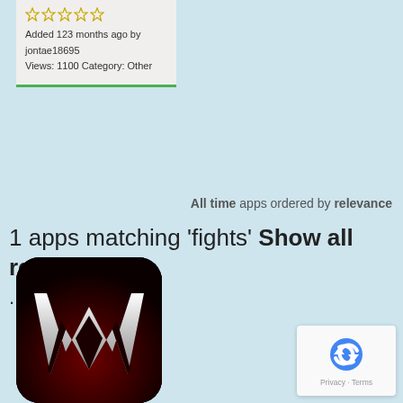[Figure (screenshot): App card with 5 empty star rating, metadata text, and green bottom border]
Added 123 months ago by jontae18695 Views: 1100 Category: Other
All time apps ordered by relevance
1 apps matching 'fights' Show all results
...
[Figure (logo): WWE app icon — black background with silver W logo]
[Figure (other): reCAPTCHA widget showing recycle/refresh logo and Privacy · Terms text]